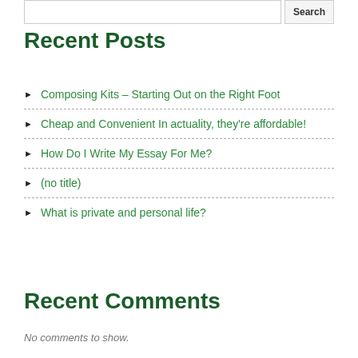Recent Posts
Composing Kits – Starting Out on the Right Foot
Cheap and Convenient In actuality, they're affordable!
How Do I Write My Essay For Me?
(no title)
What is private and personal life?
Recent Comments
No comments to show.